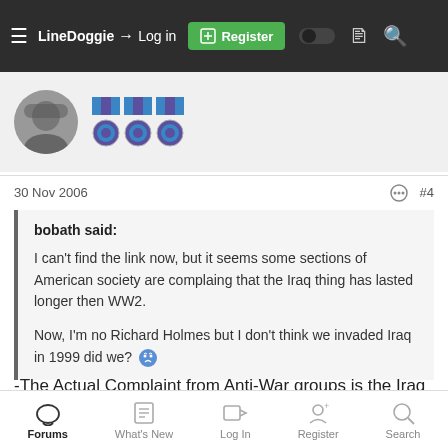LineDoggie   Log in   Register
[Figure (screenshot): User avatar, rank badges (ribbons and medals) for LineDoggie, Old-Salt]
30 Nov 2006    #4
bobath said:

I can't find the link now, but it seems some sections of American society are complaing that the Iraq thing has lasted longer then WW2.

Now, I'm no Richard Holmes but I don't think we invaded Iraq in 1999 did we? 😕
-The Actual Complaint from Anti-War groups is the Iraq War has lasted longer than US involvement in WWII.
Forums   What's New   Log In   Register   Search